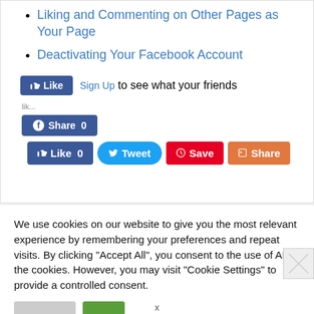Liking and Commenting on Other Pages as Your Page
Deactivating Your Facebook Account
[Figure (screenshot): Facebook Like button and Sign Up text with Share button (0), and a row of social share buttons: Like 0, Tweet, Save, Share]
We use cookies on our website to give you the most relevant experience by remembering your preferences and repeat visits. By clicking “Accept All”, you consent to the use of ALL the cookies. However, you may visit "Cookie Settings" to provide a controlled consent.
[Figure (screenshot): Cookie settings and Accept All buttons at bottom of cookie banner]